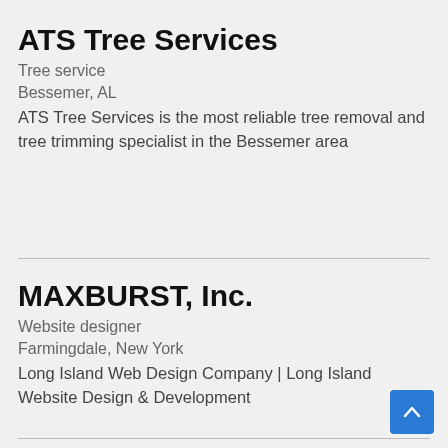ATS Tree Services
Tree service
Bessemer, AL
ATS Tree Services is the most reliable tree removal and tree trimming specialist in the Bessemer area
MAXBURST, Inc.
Website designer
Farmingdale, New York
Long Island Web Design Company | Long Island Website Design & Development